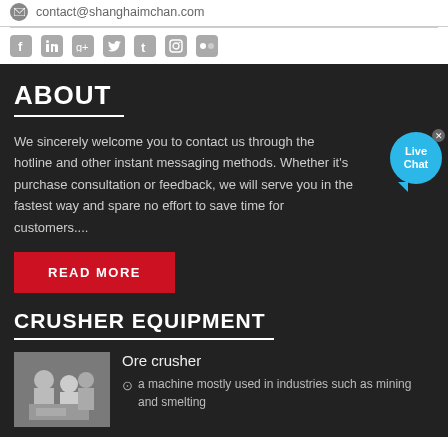contact@shanghaimchan.com
[Figure (infographic): Social media icons row: Facebook, LinkedIn, Google+, Twitter, Tumblr, Instagram, Flickr]
ABOUT
We sincerely welcome you to contact us through the hotline and other instant messaging methods. Whether it's purchase consultation or feedback, we will serve you in the fastest way and spare no effort to save time for customers....
READ MORE
CRUSHER EQUIPMENT
Ore crusher
a machine mostly used in industries such as mining and smelting